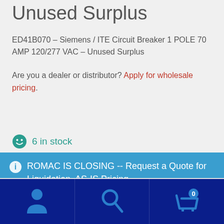Unused Surplus
ED41B070 – Siemens / ITE Circuit Breaker 1 POLE 70 AMP 120/277 VAC – Unused Surplus
Are you a dealer or distributor? Apply for wholesale pricing.
6 in stock
ROMAC IS CLOSING -- Request a Quote for Liquidation, AS-IS Pricing
Dismiss